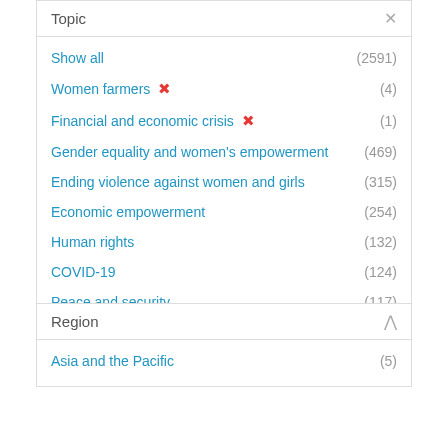Topic
Show all (2591)
Women farmers ✕ (4)
Financial and economic crisis ✕ (1)
Gender equality and women's empowerment (469)
Ending violence against women and girls (315)
Economic empowerment (254)
Human rights (132)
COVID-19 (124)
Peace and security (117)
Humanitarian action (88)
Show more
Region
Asia and the Pacific (5)